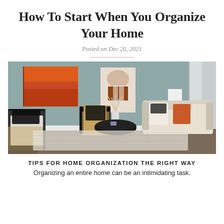How To Start When You Organize Your Home
Posted on Dec 20, 2021
[Figure (photo): A well-decorated living room with a blue-grey wall, orange abstract painting on the left, geometric wall art in the center, cream sofa with orange and patterned pillows on the right, two rattan and black armchairs, a round black coffee table, white vase with dried plants, and a patterned area rug.]
TIPS FOR HOME ORGANIZATION THE RIGHT WAY
Organizing an entire home can be an intimidating task.